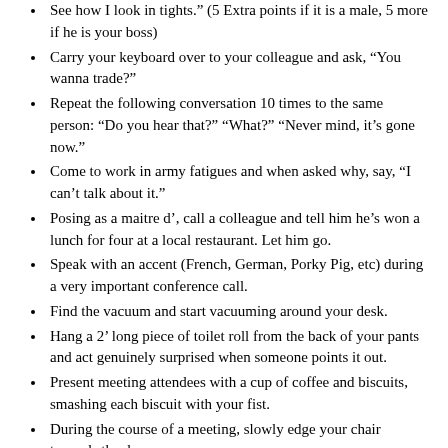See how I look in tights.” (5 Extra points if it is a male, 5 more if he is your boss)
Carry your keyboard over to your colleague and ask, “You wanna trade?”
Repeat the following conversation 10 times to the same person: “Do you hear that?” “What?” “Never mind, it’s gone now.”
Come to work in army fatigues and when asked why, say, “I can’t talk about it.”
Posing as a maitre d’, call a colleague and tell him he’s won a lunch for four at a local restaurant. Let him go.
Speak with an accent (French, German, Porky Pig, etc) during a very important conference call.
Find the vacuum and start vacuuming around your desk.
Hang a 2’ long piece of toilet roll from the back of your pants and act genuinely surprised when someone points it out.
Present meeting attendees with a cup of coffee and biscuits, smashing each biscuit with your fist.
During the course of a meeting, slowly edge your chair towards the door.
Arrange toy figures on the table to represent each meeting attendee, move them according to the movements of their real-life counterparts.